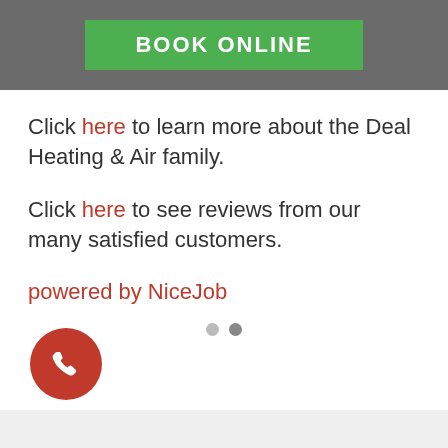[Figure (other): Green BOOK ONLINE button on grey header bar]
Click here to learn more about the Deal Heating & Air family.
Click here to see reviews from our many satisfied customers.
powered by NiceJob
[Figure (other): Two pagination dots]
[Figure (other): Red phone call button circle]